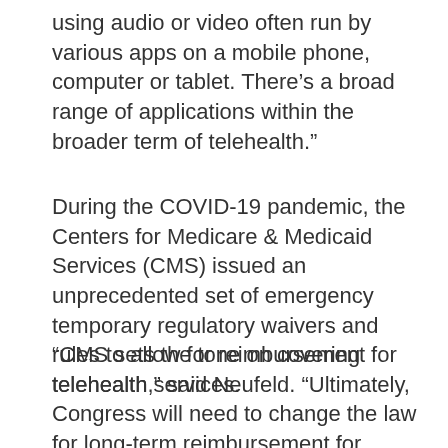using audio or video often run by various apps on a mobile phone, computer or tablet. There’s a broad range of applications within the broader term of telehealth.”
During the COVID-19 pandemic, the Centers for Medicare & Medicaid Services (CMS) issued an unprecedented set of emergency temporary regulatory waivers and rules to allow for reimbursement for telehealth services.
“CMS sets the tone on covering telehealth,” said Neufeld. “Ultimately, Congress will need to change the law for long-term reimbursement for telehealth